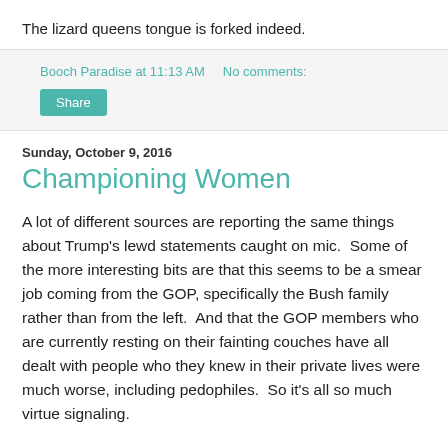The lizard queens tongue is forked indeed.
Booch Paradise at 11:13 AM    No comments:
Share
Sunday, October 9, 2016
Championing Women
A lot of different sources are reporting the same things about Trump's lewd statements caught on mic.  Some of the more interesting bits are that this seems to be a smear job coming from the GOP, specifically the Bush family rather than from the left.  And that the GOP members who are currently resting on their fainting couches have all dealt with people who they knew in their private lives were much worse, including pedophiles.  So it's all so much virtue signaling.